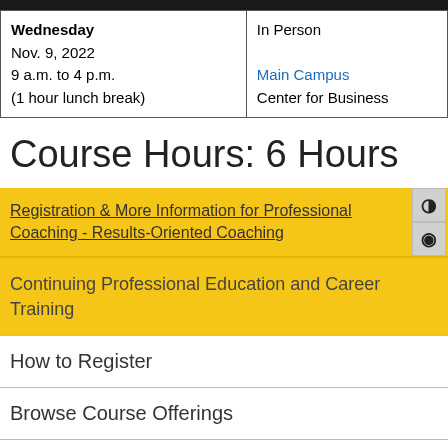| Wednesday
Nov. 9, 2022
9 a.m. to 4 p.m.
(1 hour lunch break) | In Person

Main Campus
Center for Business |
Course Hours: 6 Hours
Registration & More Information for Professional Coaching - Results-Oriented Coaching
Continuing Professional Education and Career Training
How to Register
Browse Course Offerings
Noncredit Course Search